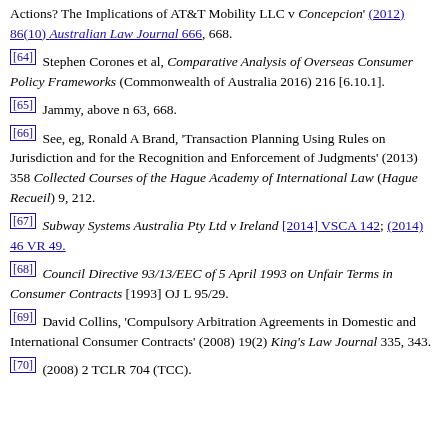Actions? The Implications of AT&T Mobility LLC v Concepcion' (2012) 86(10) Australian Law Journal 666, 668.
[64] Stephen Corones et al, Comparative Analysis of Overseas Consumer Policy Frameworks (Commonwealth of Australia 2016) 216 [6.10.1].
[65] Jammy, above n 63, 668.
[66] See, eg, Ronald A Brand, 'Transaction Planning Using Rules on Jurisdiction and for the Recognition and Enforcement of Judgments' (2013) 358 Collected Courses of the Hague Academy of International Law (Hague Recueil) 9, 212.
[67] Subway Systems Australia Pty Ltd v Ireland [2014] VSCA 142; (2014) 46 VR 49.
[68] Council Directive 93/13/EEC of 5 April 1993 on Unfair Terms in Consumer Contracts [1993] OJ L 95/29.
[69] David Collins, 'Compulsory Arbitration Agreements in Domestic and International Consumer Contracts' (2008) 19(2) King's Law Journal 335, 343.
[70] (2008) 2 TCLR 704 (TCC).